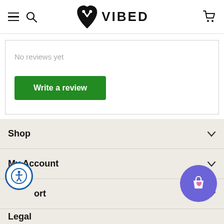VIBED (logo with heart icon, hamburger menu, search icon, cart icon)
No reviews yet
Write a review
Shop
My Account
Support
Legal